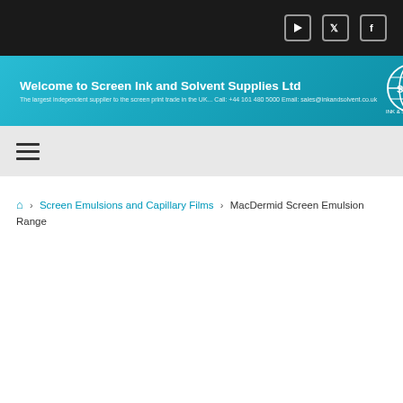Social icons: YouTube, Twitter, Facebook
[Figure (logo): Screen Ink and Solvent Supplies Ltd banner with SISS logo. Text: Welcome to Screen Ink and Solvent Supplies Ltd. The largest independent supplier to the screen print trade in the UK... Call: +44 161 480 5000 Email: sales@inkandsolvent.co.uk]
[Figure (other): Hamburger menu icon (three horizontal lines)]
Home › Screen Emulsions and Capillary Films › MacDermid Screen Emulsion Range